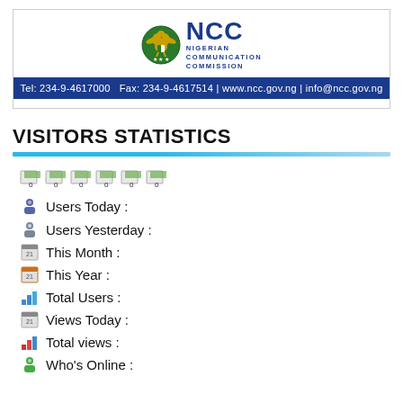[Figure (logo): NCC Nigerian Communication Commission logo with emblem]
Tel: 234-9-4617000   Fax: 234-9-4617514 | www.ncc.gov.ng | info@ncc.gov.ng
VISITORS STATISTICS
0 0 0 0 0 0 (counter icons)
Users Today :
Users Yesterday :
This Month :
This Year :
Total Users :
Views Today :
Total views :
Who's Online :